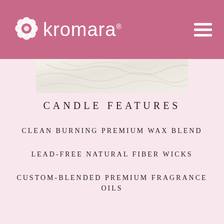kromara
[Figure (photo): Partial product image showing a marble surface, cropped at top of content area]
CANDLE FEATURES
CLEAN BURNING PREMIUM WAX BLEND
LEAD-FREE NATURAL FIBER WICKS
CUSTOM-BLENDED PREMIUM FRAGRANCE OILS